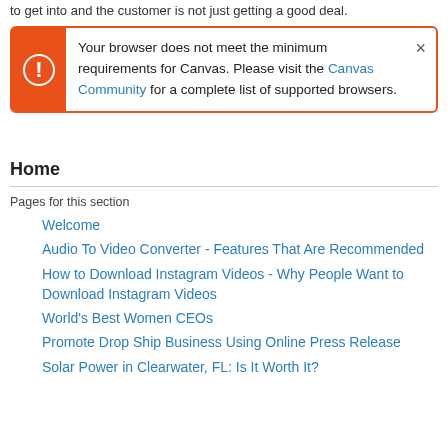to get into and the customer is not just getting a good deal.
[Figure (screenshot): Browser compatibility alert box with orange left bar, warning icon, and message: 'Your browser does not meet the minimum requirements for Canvas. Please visit the Canvas Community for a complete list of supported browsers.' with a close X button.]
Home
Pages for this section
Welcome
Audio To Video Converter - Features That Are Recommended
How to Download Instagram Videos - Why People Want to Download Instagram Videos
World's Best Women CEOs
Promote Drop Ship Business Using Online Press Release
Solar Power in Clearwater, FL: Is It Worth It?